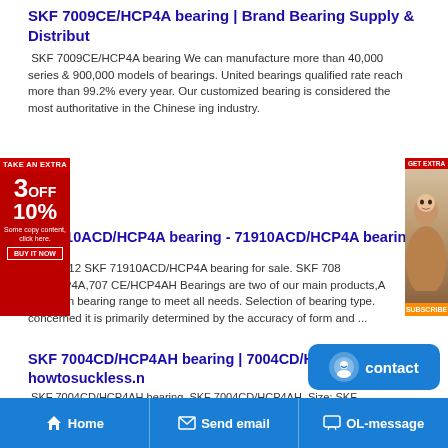SKF 7009CE/HCP4A bearing | Brand Bearing Supply & Distribut
SKF 7009CE/HCP4A bearing We can manufacture more than 40,000 series & 900,000 models of bearings. United bearings qualified rate reach more than 99.2% every year. Our customized bearing is considered the most authoritative in the Chinese ing industry.
[Figure (illustration): Red advertisement banner on left: TAKE AN EXTRA, 3OFF, 10%, some text, BUY IT NOW button]
[Figure (photo): Right side advertisement with GET EXTRA text and woman's face photo, with SUBSCRIBE button]
F 71910ACD/HCP4A bearing - 71910ACD/HCP4A bearing for sa
50x72x12 SKF 71910ACD/HCP4A bearing for sale. SKF 708 CE/HCP4A,707 CE/HCP4AH Bearings are two of our main products,A precision bearing range to meet all needs. Selection of bearing type. concerned it is primarily determined by the accuracy of form and ...
SKF 7004CD/HCP4AH bearing | 7004CD/HCP4AH Sets - howtosuckless.n
SKF 7004CD/HCP4AH bearing. SKF 7004CD/HCP4AH, Size: SKF 7004CD/HCP4AH bearing, Size: 20x42x12. SKF 7004CD/HCP4A wide variety of applications, they are simple in design, suitable fo robust in operation, and need little maintenance..
[Figure (illustration): Blue contact button with smiley face icon and 'contact' text]
Home   Send email   OL-message